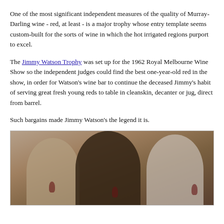One of the most significant independent measures of the quality of Murray-Darling wine - red, at least - is a major trophy whose entry template seems custom-built for the sorts of wine in which the hot irrigated regions purport to excel.
The Jimmy Watson Trophy was set up for the 1962 Royal Melbourne Wine Show so the independent judges could find the best one-year-old red in the show, in order for Watson's wine bar to continue the deceased Jimmy's habit of serving great fresh young reds to table in cleanskin, decanter or jug, direct from barrel.
Such bargains made Jimmy Watson's the legend it is.
[Figure (photo): Three men smiling and raising glasses of red wine, photographed in front of a wooden backdrop.]